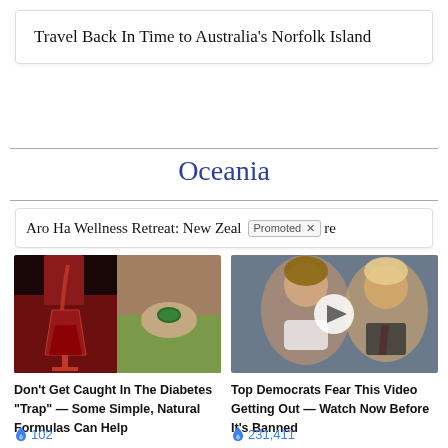Travel Back In Time to Australia's Norfolk Island
Oceania
Aro Ha Wellness Retreat: New Zeal Promoted × re
[Figure (photo): Left half: red wine being poured into a glass. Right half: hand holding a green capsule/pill.]
Don't Get Caught In The Diabetes "Trap" — Some Simple, Natural Formulas Can Help
🔥 102
[Figure (photo): Photo of Melania and Donald Trump with a video play button overlay.]
Top Democrats Fear This Video Getting Out — Watch Now Before It's Banned
🔥 231,411